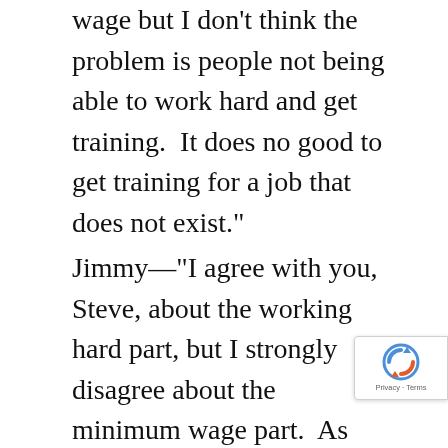wage but I don't think the problem is people not being able to work hard and get training.  It does no good to get training for a job that does not exist."
Jimmy—"I agree with you, Steve, about the working hard part, but I strongly disagree about the minimum wage part.  As you may recall from our initial introductions, I am a labor union organizer.  I deal with these problems day in and day out, and I agree with much of what Steve said about the most relevant problem today being the outsourcing of American jobs.  Whew, where do you start?  This problem has been around in some form but got going in earnest after Ronald Reagan got elected in 1980.  The root cause is greed and